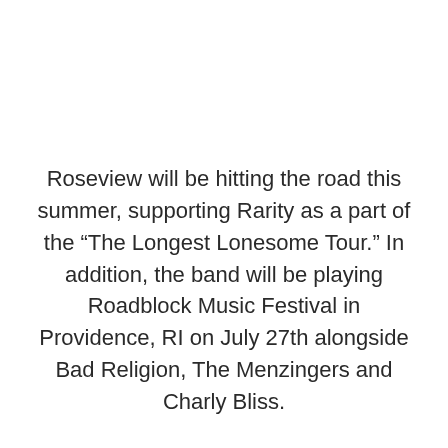Roseview will be hitting the road this summer, supporting Rarity as a part of the “The Longest Lonesome Tour.” In addition, the band will be playing Roadblock Music Festival in Providence, RI on July 27th alongside Bad Religion, The Menzingers and Charly Bliss.